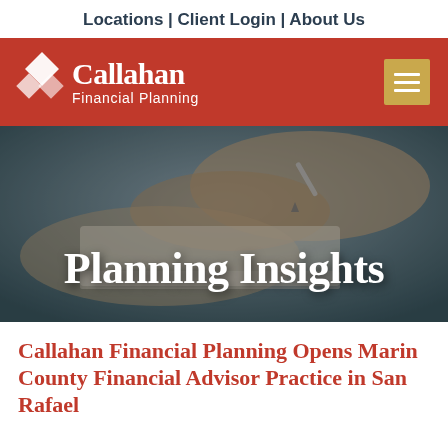Locations | Client Login | About Us
[Figure (logo): Callahan Financial Planning logo with diamond shapes on red background bar, and a hamburger menu button]
[Figure (photo): Hero image of hands writing/signing a document, overlaid with bold text 'Planning Insights']
Callahan Financial Planning Opens Marin County Financial Advisor Practice in San Rafael